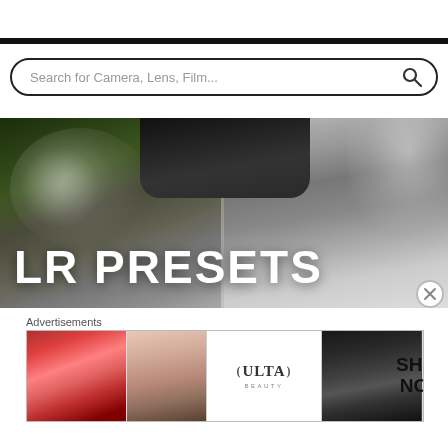Search for Camera, Lens, Film...
[Figure (photo): Banner showing split image: left side color photo of woman with smoke and dark hat, right side black-and-white photo of blonde woman. Large white bold text reads 'LR PRESETS' overlaid on the bottom portion of the image.]
Advertisements
[Figure (photo): Advertisement banner showing beauty products: red lipstick, makeup brush, eye closeup, ULTA Beauty logo, dramatic eye makeup, and SHOP NOW text.]